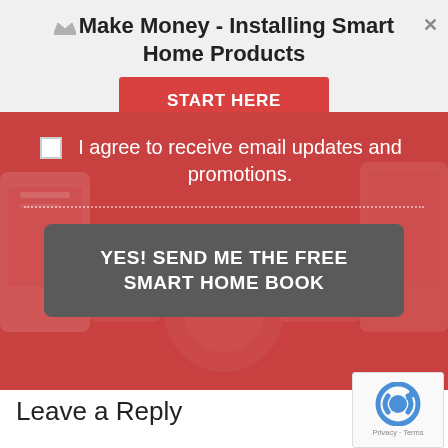Make Money - Installing Smart Home Products
[Figure (screenshot): Red promotional popup/modal overlay with smart home background image, showing a START HERE button, an email opt-in checkbox, and a CTA button to receive a free smart home book]
I agree to receive email updates and promotions.
YES! SEND ME THE FREE SMART HOME BOOK
Leave a Reply
[Figure (other): reCAPTCHA widget showing Privacy - Terms]